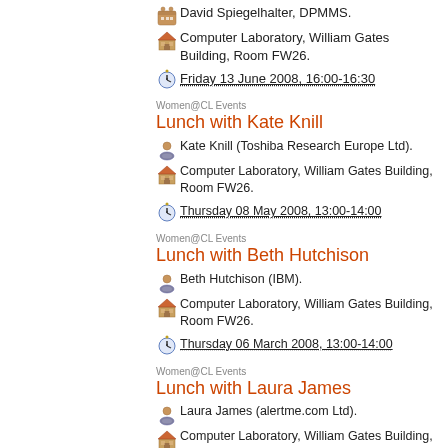David Spiegelhalter, DPMMS.
Computer Laboratory, William Gates Building, Room FW26.
Friday 13 June 2008, 16:00-16:30
Women@CL Events
Lunch with Kate Knill
Kate Knill (Toshiba Research Europe Ltd).
Computer Laboratory, William Gates Building, Room FW26.
Thursday 08 May 2008, 13:00-14:00
Women@CL Events
Lunch with Beth Hutchison
Beth Hutchison (IBM).
Computer Laboratory, William Gates Building, Room FW26.
Thursday 06 March 2008, 13:00-14:00
Women@CL Events
Lunch with Laura James
Laura James (alertme.com Ltd).
Computer Laboratory, William Gates Building, Room FW26.
Thursday 24 January 2008, 13:00-14:00
Rainbow Interaction Seminars
Flash Exposure High Dynamic